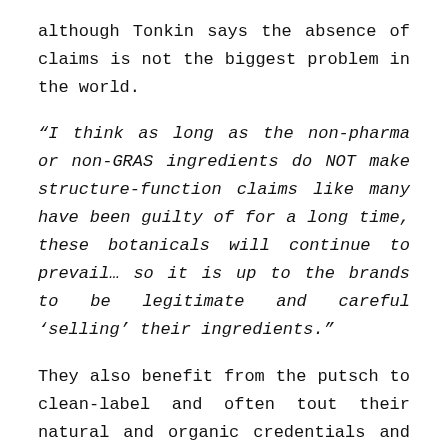although Tonkin says the absence of claims is not the biggest problem in the world.
“I think as long as the non-pharma or non-GRAS ingredients do NOT make structure-function claims like many have been guilty of for a long time, these botanicals will continue to prevail… so it is up to the brands to be legitimate and careful ‘selling’ their ingredients.”
They also benefit from the putsch to clean-label and often tout their natural and organic credentials and their ‘sophisticated’ flavor profile means they are attracting interest in the booming low/no alcohol world. Majors like